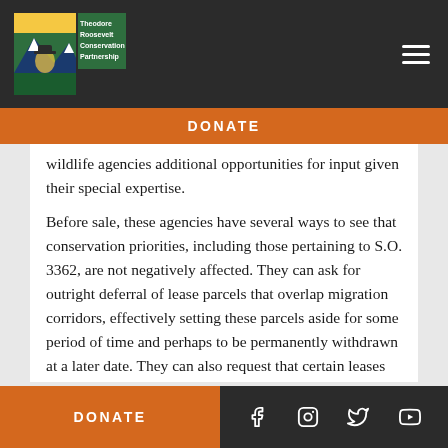Theodore Roosevelt Conservation Partnership
DONATE
wildlife agencies additional opportunities for input given their special expertise.

Before sale, these agencies have several ways to see that conservation priorities, including those pertaining to S.O. 3362, are not negatively affected. They can ask for outright deferral of lease parcels that overlap migration corridors, effectively setting these parcels aside for some period of time and perhaps to be permanently withdrawn at a later date. They can also request that certain leases include protective stipulations required by the local Resource
DONATE | social icons: Facebook, Instagram, Twitter, YouTube